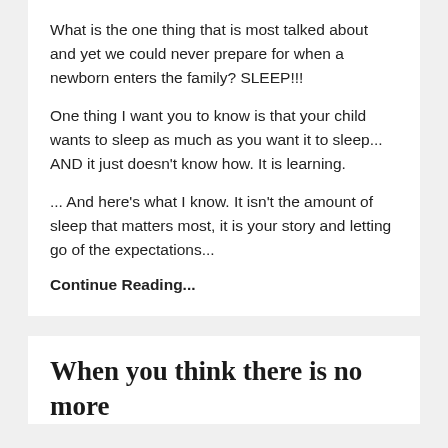What is the one thing that is most talked about and yet we could never prepare for when a newborn enters the family? SLEEP!!!
One thing I want you to know is that your child wants to sleep as much as you want it to sleep... AND it just doesn't know how. It is learning.
... And here's what I know. It isn't the amount of sleep that matters most, it is your story and letting go of the expectations...
Continue Reading...
When you think there is no more